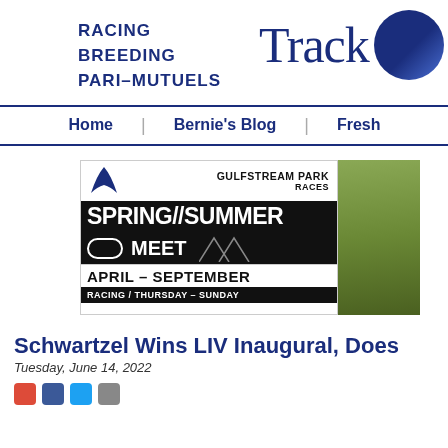RACING
BREEDING
PARI-MUTUELS
[Figure (logo): Track publication logo with circular emblem]
Home | Bernie's Blog | Fresh
[Figure (photo): Gulfstream Park Spring/Summer Meet advertisement - April through September, Racing Thursday-Sunday]
Schwartzel Wins LIV Inaugural, Does
Tuesday, June 14, 2022